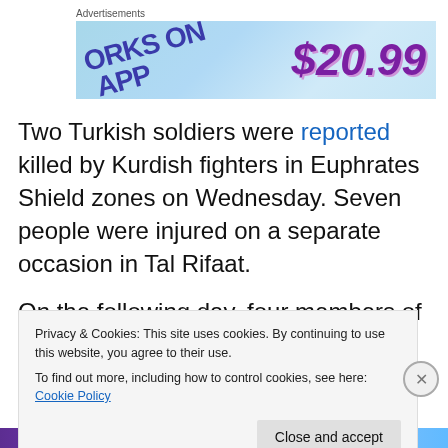Advertisements
[Figure (other): Advertisement banner showing 'WORKS ON APP' text and '$20.99' price on a light blue background]
Two Turkish soldiers were reported killed by Kurdish fighters in Euphrates Shield zones on Wednesday. Seven people were injured on a separate occasion in Tal Rifaat.
On the following day, four members of the internal security forces (Asayish) were killed near Tal al-Semin camp in
Privacy & Cookies: This site uses cookies. By continuing to use this website, you agree to their use.
To find out more, including how to control cookies, see here: Cookie Policy
Close and accept